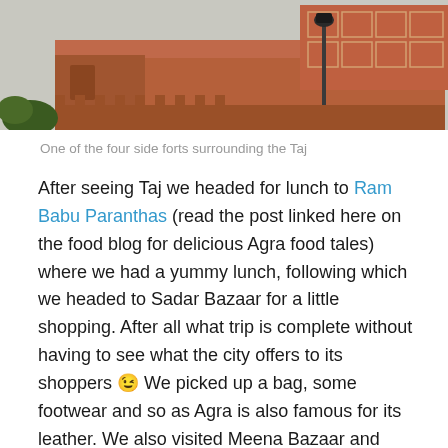[Figure (photo): Photograph of a red sandstone fort building with a street lamp, one of the four side forts surrounding the Taj Mahal]
One of the four side forts surrounding the Taj
After seeing Taj we headed for lunch to Ram Babu Paranthas (read the post linked here on the food blog for delicious Agra food tales) where we had a yummy lunch, following which we headed to Sadar Bazaar for a little shopping. After all what trip is complete without having to see what the city offers to its shoppers 😉 We picked up a bag, some footwear and so as Agra is also famous for its leather. We also visited Meena Bazaar and picked up a gorgeous marble mortar and pestle and some coasters.
Post all this when we saw the time it was already 5:00 pm